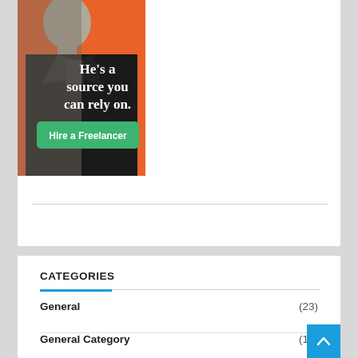[Figure (illustration): Advertisement showing a man in dark clothing against an orange background with white serif text reading 'He's a source you can rely on.' and a green button labeled 'Hire a Freelancer']
CATEGORIES
General (23)
General Category (14)